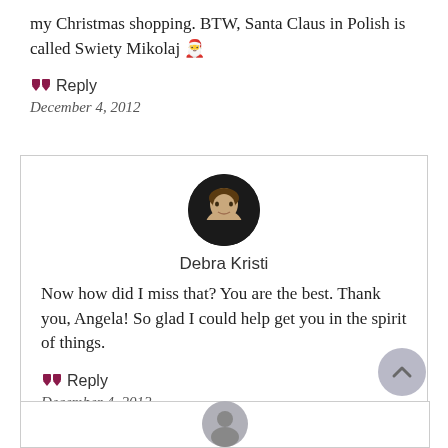my Christmas shopping. BTW, Santa Claus in Polish is called Swiety Mikolaj 🎅
Reply
December 4, 2012
[Figure (photo): Circular avatar photo of Debra Kristi, a woman with blonde hair against a dark background]
Debra Kristi
Now how did I miss that? You are the best. Thank you, Angela! So glad I could help get you in the spirit of things.
Reply
December 4, 2012